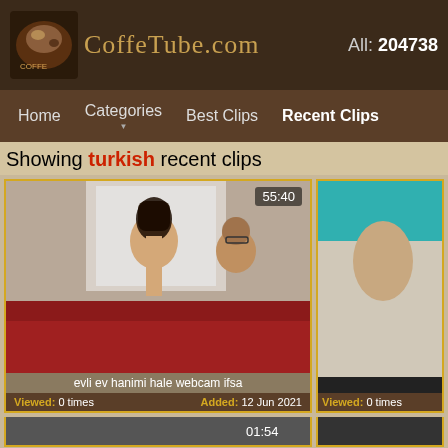CoffeTube.com  All: 204738
Home  Categories  Best Clips  Recent Clips
Showing turkish recent clips
[Figure (screenshot): Video thumbnail showing two people on a red couch, duration badge 55:40]
evli ev hanimi hale webcam ifsa
Viewed: 0 times   Added: 12 Jun 2021
[Figure (screenshot): Partial video thumbnail with teal/green background, Viewed: 0 times]
Viewed: 0 times